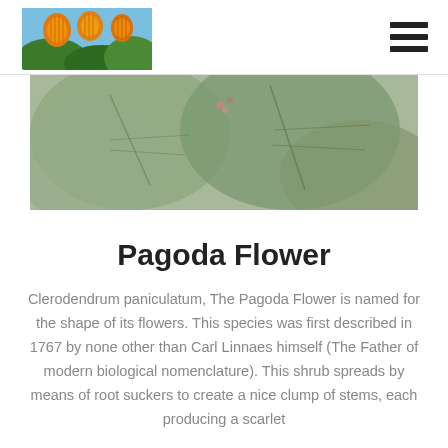[Figure (photo): Logo: orange pagoda flower cluster photo in top-left nav]
[Figure (photo): Hero image: large green tropical leaves filling the width of the page]
Pagoda Flower
Clerodendrum paniculatum, The Pagoda Flower is named for the shape of its flowers. This species was first described in 1767 by none other than Carl Linnaes himself (The Father of modern biological nomenclature). This shrub spreads by means of root suckers to create a nice clump of stems, each producing a scarlet